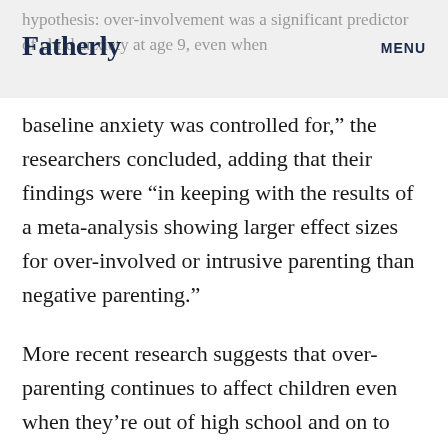Fatherly   MENU   hypothesis: over-involvement was a significant predictor of child anxiety at age 9, even when
baseline anxiety was controlled for,” the researchers concluded, adding that their findings were “in keeping with the results of a meta-analysis showing larger effect sizes for over-involved or intrusive parenting than negative parenting.”
More recent research suggests that over-parenting continues to affect children even when they’re out of high school and on to college. This is the time when, traditionally, children separated from their parents and found some semblance of autonomy. But researchers are finding that parents are remaining involved even as kids enter higher